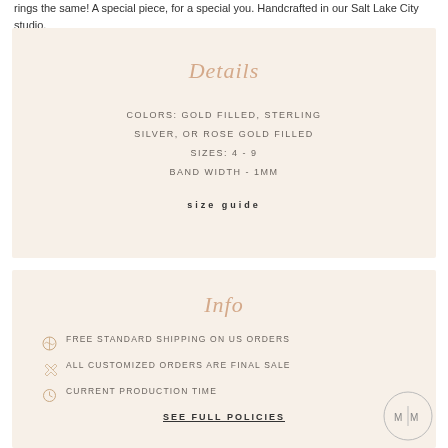rings the same! A special piece, for a special you. Handcrafted in our Salt Lake City studio.
Details
COLORS: GOLD FILLED, STERLING SILVER, OR ROSE GOLD FILLED
SIZES: 4 - 9
BAND WIDTH - 1MM
size guide
Info
FREE STANDARD SHIPPING ON US ORDERS
ALL CUSTOMIZED ORDERS ARE FINAL SALE
CURRENT PRODUCTION TIME
SEE FULL POLICIES
[Figure (logo): M|M circular logo with two letters M separated by a vertical bar, inside a circle]